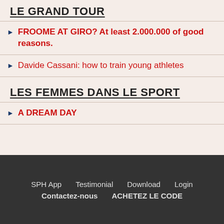LE GRAND TOUR
FROOME AT GIRO? At least 2.000.000 of good reasons.
Davide Cassani: how to train young athletes
LES FEMMES DANS LE SPORT
A DREAM DAY
SPH App   Testimonial   Download   Login   Contactez-nous   ACHETEZ LE CODE